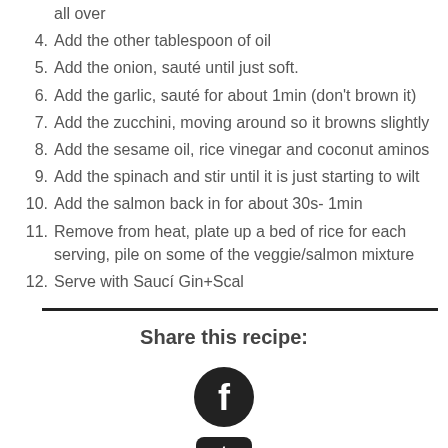all over
4. Add the other tablespoon of oil
5. Add the onion, sauté until just soft.
6. Add the garlic, sauté for about 1min (don't brown it)
7. Add the zucchini, moving around so it browns slightly
8. Add the sesame oil, rice vinegar and coconut aminos
9. Add the spinach and stir until it is just starting to wilt
10. Add the salmon back in for about 30s- 1min
11. Remove from heat, plate up a bed of rice for each serving, pile on some of the veggie/salmon mixture
12. Serve with Saucí Gin+Scal
Share this recipe:
[Figure (logo): Facebook icon - circular dark logo with F]